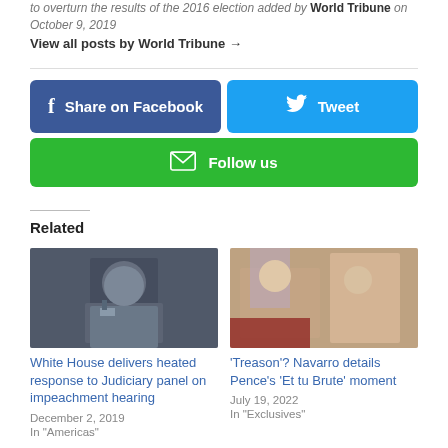to overturn the results of the 2016 election added by World Tribune on October 9, 2019
View all posts by World Tribune →
[Figure (infographic): Social sharing buttons: Share on Facebook (dark blue), Tweet (light blue), Follow us (green with envelope icon)]
Related
[Figure (photo): Photo of man in suit at hearing, likely Judiciary Committee]
White House delivers heated response to Judiciary panel on impeachment hearing
December 2, 2019
In "Americas"
[Figure (photo): Photo of two men, one appears to be Trump, at a desk]
'Treason'? Navarro details Pence's 'Et tu Brute' moment
July 19, 2022
In "Exclusives"